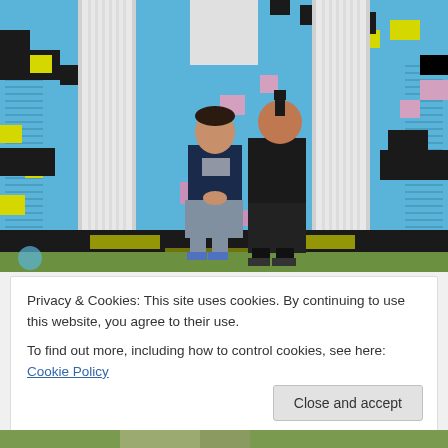[Figure (photo): Two men standing in front of a colorful pixel-art style mural painted on a building facade with white classical columns. The mural features blue, yellow, pink, and black geometric/pixel shapes. The man on the left wears a navy t-shirt and gray shorts; the man on the right wears a black hoodie and black pants.]
Privacy & Cookies: This site uses cookies. By continuing to use this website, you agree to their use.
To find out more, including how to control cookies, see here: Cookie Policy
Close and accept
[Figure (photo): Partial view of another photo at the bottom of the page, showing a grassy area.]